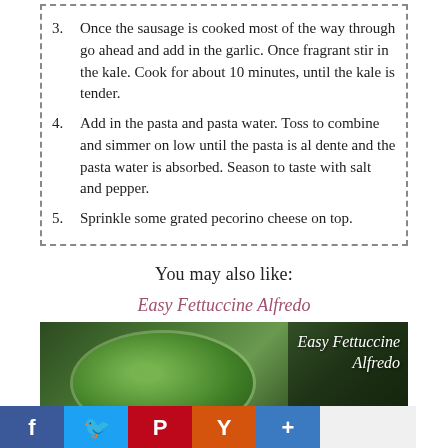3. Once the sausage is cooked most of the way through go ahead and add in the garlic. Once fragrant stir in the kale. Cook for about 10 minutes, until the kale is tender.
4. Add in the pasta and pasta water. Toss to combine and simmer on low until the pasta is al dente and the pasta water is absorbed. Season to taste with salt and pepper.
5. Sprinkle some grated pecorino cheese on top.
You may also like:
Easy Fettuccine Alfredo
[Figure (photo): Photo of Easy Fettuccine Alfredo showing a bowl of greens/pasta with text overlay reading 'Easy Fettuccine Alfredo' on a dark panel at the right.]